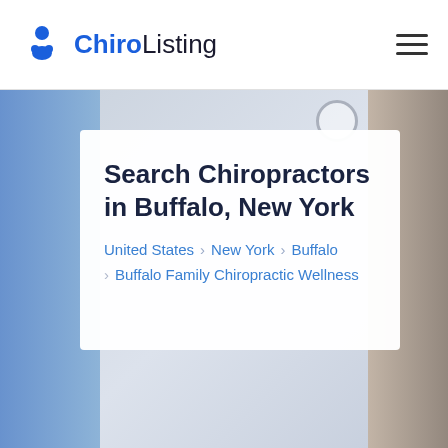ChiroListing
[Figure (photo): Background photo of a chiropractor treating a patient, with a person in blue gloves on the left and a bearded man's face visible on the right]
Search Chiropractors in Buffalo, New York
United States > New York > Buffalo > Buffalo Family Chiropractic Wellness